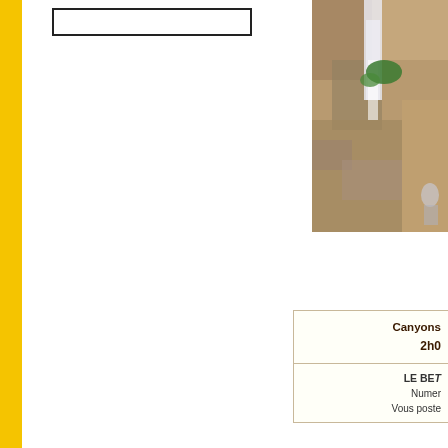[Figure (other): Empty white box with black border at top left of page]
[Figure (photo): Outdoor canyoning/waterfall photo showing rocky cliffs and cascading water with green vegetation]
| Canyons | 2h0 |
| LE BET | Numer | Vous poste |